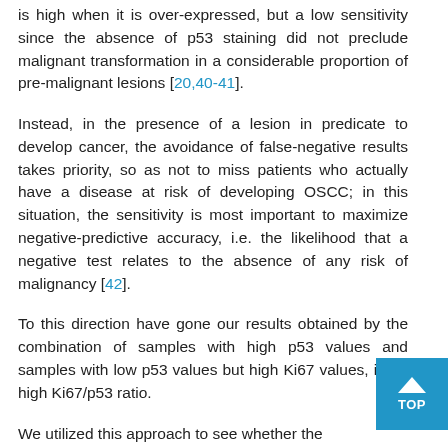is high when it is over-expressed, but a low sensitivity since the absence of p53 staining did not preclude malignant transformation in a considerable proportion of pre-malignant lesions [20,40-41].
Instead, in the presence of a lesion in predicate to develop cancer, the avoidance of false-negative results takes priority, so as not to miss patients who actually have a disease at risk of developing OSCC; in this situation, the sensitivity is most important to maximize negative-predictive accuracy, i.e. the likelihood that a negative test relates to the absence of any risk of malignancy [42].
To this direction have gone our results obtained by the combination of samples with high p53 values and samples with low p53 values but high Ki67 values, i.e. a high Ki67/p53 ratio.
We utilized this approach to see whether the